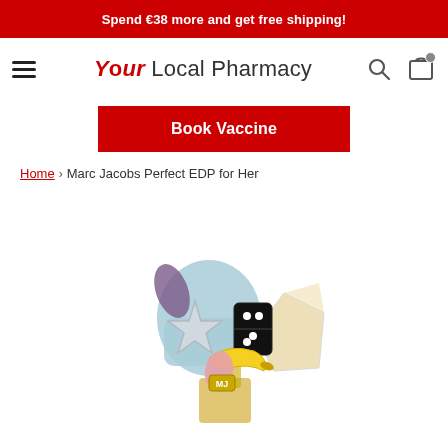Spend €38 more and get free shipping!
[Figure (logo): Your Local Pharmacy logo with hamburger menu, search icon, and shopping bag icon in navigation bar]
Book Vaccine
Home › Marc Jacobs Perfect EDP for Her
[Figure (photo): Marc Jacobs Perfect EDP for Her perfume bottle top close-up, showing decorative charms including a silver star, banana, domino, blue heart shape, crystal, and MJ monogram charm]